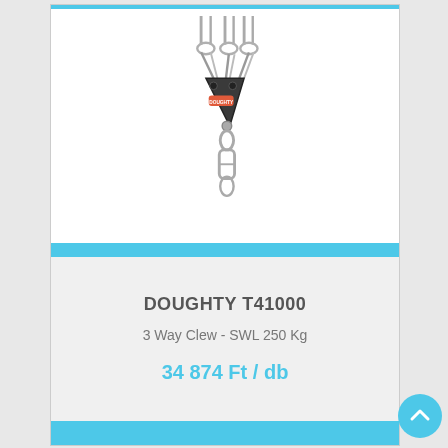[Figure (photo): Doughty T41000 3 Way Clew product photo showing a triangular black steel clew plate with three wire rope loops at top connected via swivel hook at bottom, branded with orange Doughty label]
DOUGHTY T41000
3 Way Clew - SWL 250 Kg
34 874 Ft / db